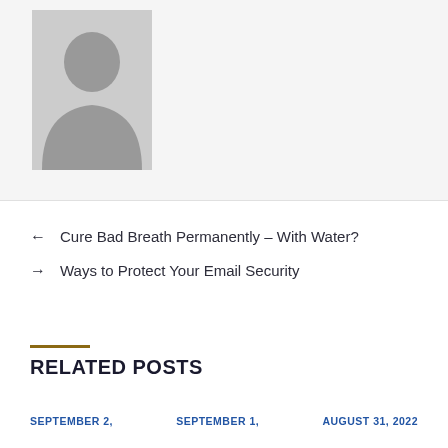[Figure (illustration): Gray placeholder avatar image showing a silhouette of a person on a light gray background]
← Cure Bad Breath Permanently – With Water?
→ Ways to Protect Your Email Security
RELATED POSTS
SEPTEMBER 2,   SEPTEMBER 1,   AUGUST 31, 2022